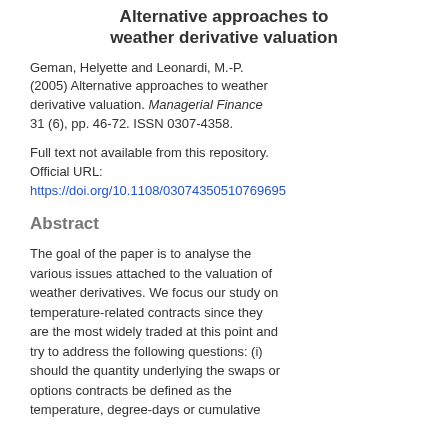Alternative approaches to weather derivative valuation
Geman, Helyette and Leonardi, M.-P. (2005) Alternative approaches to weather derivative valuation. Managerial Finance 31 (6), pp. 46-72. ISSN 0307-4358.
Full text not available from this repository. Official URL: https://doi.org/10.1108/03074350510769695
Abstract
The goal of the paper is to analyse the various issues attached to the valuation of weather derivatives. We focus our study on temperature-related contracts since they are the most widely traded at this point and try to address the following questions: (i) should the quantity underlying the swaps or options contracts be defined as the temperature, degree-days or cumulative